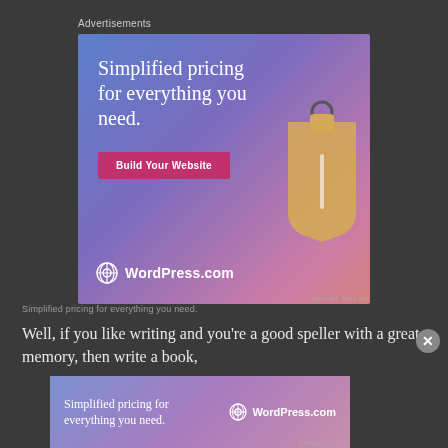Advertisements
[Figure (illustration): WordPress.com advertisement banner with gradient blue-purple-pink background, large white serif text 'Simplified pricing for everything you need.', a pink 'Build Your Website' button, a 3D price tag illustration, and WordPress.com logo at bottom left.]
REPORT THIS AD
Well, if you like writing and you're a good speller with a great memory, then write a book,
[Figure (illustration): WordPress.com smaller banner ad with gradient background, white serif text 'Simplified pricing for everything you need.' on left and WordPress.com logo on right.]
REPORT THIS AD